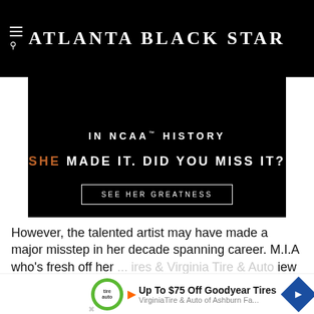Atlanta Black Star
[Figure (infographic): Advertisement banner on black background with text: 'IN NCAA™ HISTORY' and 'SHE MADE IT. DID YOU MISS IT?' with a button 'SEE HER GREATNESS']
However, the talented artist may have made a major misstep in her decade spanning career. M.I.A who's fresh off her ... iew with U.S.
[Figure (infographic): Bottom advertisement bar: Up To $75 Off Goodyear Tires - VirginiaTire & Auto of Ashburn Fa...]